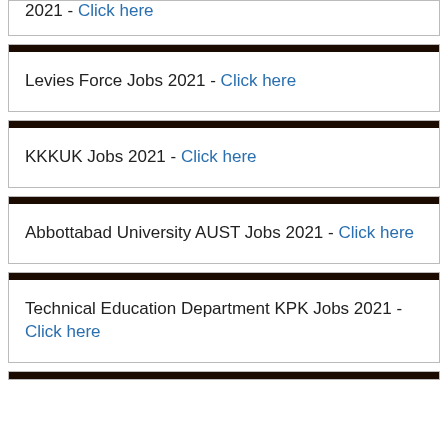2021 - Click here
Levies Force Jobs 2021 - Click here
KKKUK Jobs 2021 - Click here
Abbottabad University AUST Jobs 2021 - Click here
Technical Education Department KPK Jobs 2021 - Click here